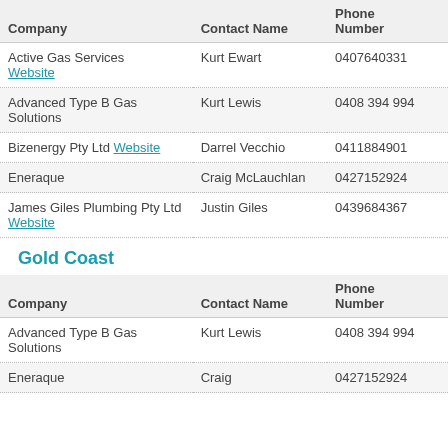| Company | Contact Name | Phone Number |
| --- | --- | --- |
| Active Gas Services Website | Kurt Ewart | 0407640331 |
| Advanced Type B Gas Solutions | Kurt Lewis | 0408 394 994 |
| Bizenergy Pty Ltd Website | Darrel Vecchio | 0411884901 |
| Eneraque | Craig McLauchlan | 0427152924 |
| James Giles Plumbing Pty Ltd Website | Justin Giles | 0439684367 |
Gold Coast
| Company | Contact Name | Phone Number |
| --- | --- | --- |
| Advanced Type B Gas Solutions | Kurt Lewis | 0408 394 994 |
| Eneraque | Craig | 0427152924 |